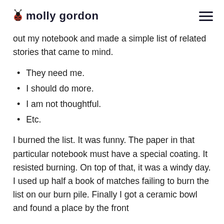molly gordon
out my notebook and made a simple list of related stories that came to mind.
They need me.
I should do more.
I am not thoughtful.
Etc.
I burned the list. It was funny. The paper in that particular notebook must have a special coating. It resisted burning. On top of that, it was a windy day. I used up half a book of matches failing to burn the list on our burn pile. Finally I got a ceramic bowl and found a place by the front